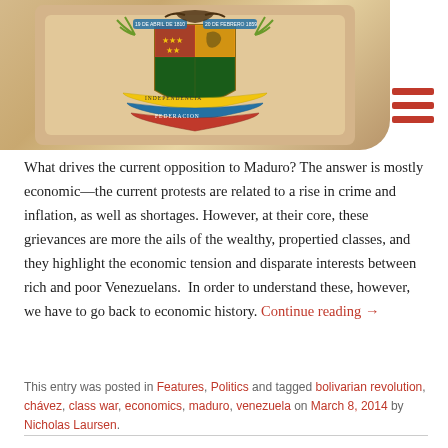[Figure (illustration): Venezuelan coat of arms / seal on a parchment-style background with a hamburger menu icon (three red horizontal lines) in the top-right corner]
What drives the current opposition to Maduro? The answer is mostly economic—the current protests are related to a rise in crime and inflation, as well as shortages. However, at their core, these grievances are more the ails of the wealthy, propertied classes, and they highlight the economic tension and disparate interests between rich and poor Venezuelans. In order to understand these, however, we have to go back to economic history. Continue reading →
This entry was posted in Features, Politics and tagged bolivarian revolution, chávez, class war, economics, maduro, venezuela on March 8, 2014 by Nicholas Laursen.